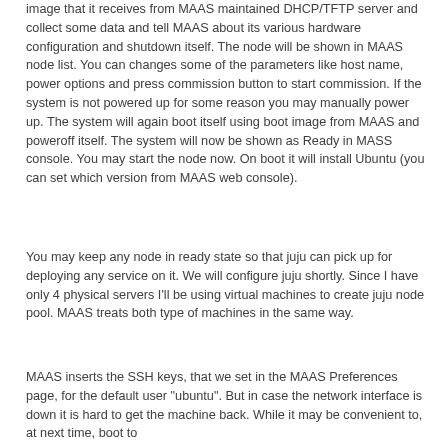image that it receives from MAAS maintained DHCP/TFTP server and collect some data and tell MAAS about its various hardware configuration and shutdown itself. The node will be shown in MAAS node list. You can changes some of the parameters like host name, power options and press commission button to start commission. If the system is not powered up for some reason you may manually power up. The system will again boot itself using boot image from MAAS and poweroff itself. The system will now be shown as Ready in MASS console. You may start the node now. On boot it will install Ubuntu (you can set which version from MAAS web console).
You may keep any node in ready state so that juju can pick up for deploying any service on it. We will configure juju shortly. Since I have only 4 physical servers I'll be using virtual machines to create juju node pool. MAAS treats both type of machines in the same way.
MAAS inserts the SSH keys, that we set in the MAAS Preferences page, for the default user "ubuntu". But in case the network interface is down it is hard to get the machine back. While it may be convenient to, at next time, boot to